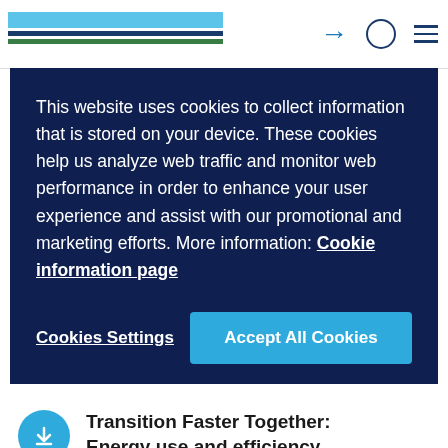This website uses cookies to collect information that is stored on your device. These cookies help us analyze web traffic and monitor web performance in order to enhance your user experience and assist with our promotional and marketing efforts. More information: Cookie information page
Cookies Settings
Accept All Cookies
Transition Faster Together: Energy use and efficiency
Solutions, strategies and policies for a clean energy future